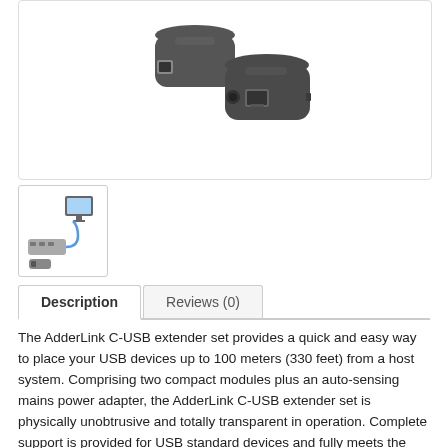[Figure (photo): Two dark gray USB extender modules (AdderLink C-USB) side by side, one showing a USB-B port and one showing a power jack and RJ45 ethernet port.]
[Figure (photo): Thumbnail diagram showing USB extender setup with a cable connected between devices including a monitor and USB hub.]
Description	Reviews (0)
The AdderLink C-USB extender set provides a quick and easy way to place your USB devices up to 100 meters (330 feet) from a host system. Comprising two compact modules plus an auto-sensing mains power adapter, the AdderLink C-USB extender set is physically unobtrusive and totally transparent in operation. Complete support is provided for USB standard devices and fully meets the current USB